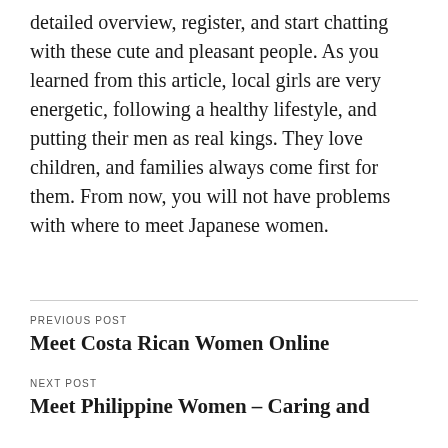detailed overview, register, and start chatting with these cute and pleasant people. As you learned from this article, local girls are very energetic, following a healthy lifestyle, and putting their men as real kings. They love children, and families always come first for them. From now, you will not have problems with where to meet Japanese women.
PREVIOUS POST
Meet Costa Rican Women Online
NEXT POST
Meet Philippine Women – Caring and